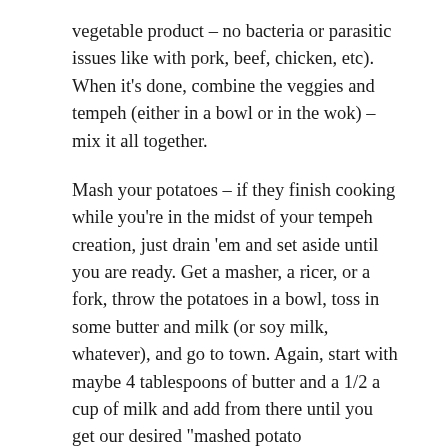vegetable product – no bacteria or parasitic issues like with pork, beef, chicken, etc). When it's done, combine the veggies and tempeh (either in a bowl or in the wok) – mix it all together.
Mash your potatoes – if they finish cooking while you're in the midst of your tempeh creation, just drain 'em and set aside until you are ready. Get a masher, a ricer, or a fork, throw the potatoes in a bowl, toss in some butter and milk (or soy milk, whatever), and go to town. Again, start with maybe 4 tablespoons of butter and a 1/2 a cup of milk and add from there until you get our desired "mashed potato consistency." Not an exact science. Just go with it.
Take your casserole dishes/pans, put the tempeh mixture at the bottom (divide evenly amongst however many dishes/pans you have – level it out with the back of a spoon (or whatever utensil you have handy). Spoon